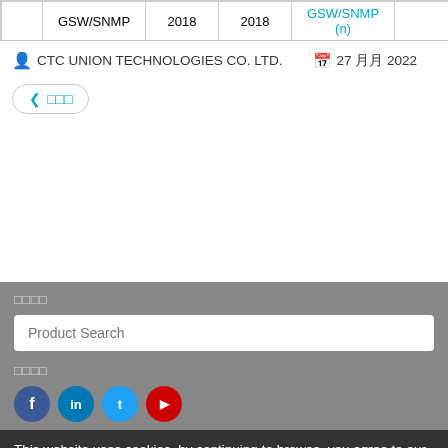|  | GSW/SNMP | 2018 | 2018 | GSW/SNMP (n) |  |
| --- | --- | --- | --- | --- | --- |
|  | GSW/SNMP | 2018 | 2018 | GSW/SNMP (n) |  |
CTC UNION TECHNOLOGIES CO. LTD.   27 月 2022
◀ 이전
제품검색
Product Search
소셜미디어
This website uses cookies, by continuing to browse, you agree to our cookie policy. Read our Privacy Policy for more information.
I accept